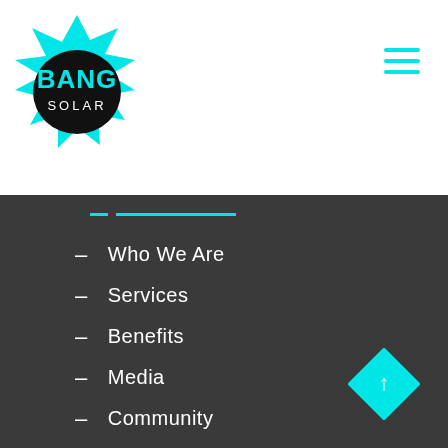[Figure (logo): Bang Solar logo: cyan/teal starburst shape with black center, text BANG in large bold teal letters and SOLAR below in white]
Who We Are
Services
Benefits
Media
Community
Contact Us